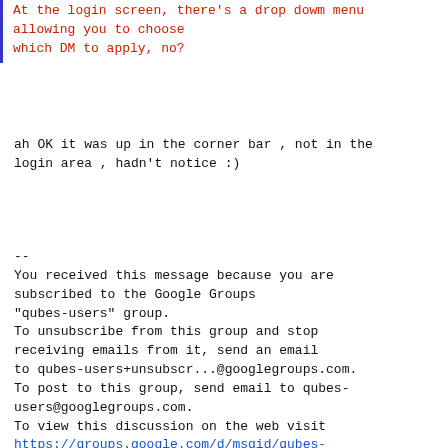At the login screen, there's a drop dowm menu allowing you to choose which DM to apply, no?
ah OK it was up in the corner bar , not in the login area , hadn't notice :)
--
You received this message because you are subscribed to the Google Groups "qubes-users" group.
To unsubscribe from this group and stop receiving emails from it, send an email to qubes-users+unsubscr...@googlegroups.com.
To post to this group, send email to qubes-users@googlegroups.com.
To view this discussion on the web visit https://groups.google.com/d/msgid/qubes-users/f476df70-f9d9-9767-c9c4-7679f74d38e5%40riseup.net.
For more options, visit